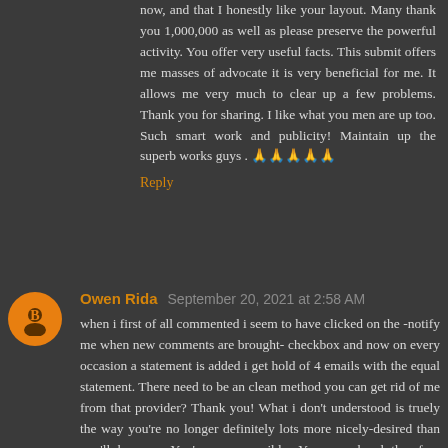now, and that I honestly like your layout. Many thank you 1,000,000 as well as please preserve the powerful activity. You offer very useful facts. This submit offers me masses of advocate it is very beneficial for me. It allows me very much to clear up a few problems. Thank you for sharing. I like what you men are up too. Such smart work and publicity! Maintain up the superb works guys . 🙏🙏🙏🙏🙏
Reply
Owen Rida  September 20, 2021 at 2:58 AM
when i first of all commented i seem to have clicked on the -notify me when new comments are brought- checkbox and now on every occasion a statement is added i get hold of 4 emails with the equal statement. There need to be an clean method you can get rid of me from that provider? Thank you! What i don't understood is truely the way you're no longer definitely lots more nicely-desired than you'll be now. You're very sensible. You apprehend therefore substantially in terms of this difficulty, produced me for my part agree with it from such a number of diverse angles. Its like ladies and men aren't worried besides it's miles one component to